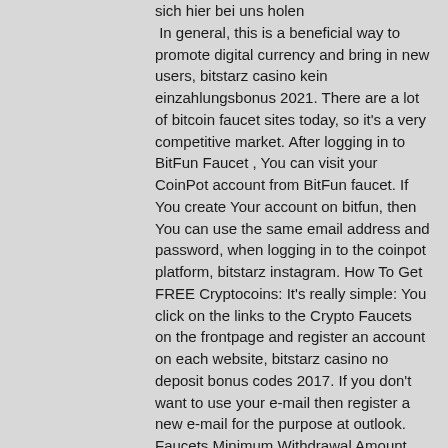sich hier bei uns holen In general, this is a beneficial way to promote digital currency and bring in new users, bitstarz casino kein einzahlungsbonus 2021. There are a lot of bitcoin faucet sites today, so it's a very competitive market. After logging in to BitFun Faucet , You can visit your CoinPot account from BitFun faucet. If You create Your account on bitfun, then You can use the same email address and password, when logging in to the coinpot platform, bitstarz instagram. How To Get FREE Cryptocoins: It's really simple: You click on the links to the Crypto Faucets on the frontpage and register an account on each website, bitstarz casino no deposit bonus codes 2017. If you don't want to use your e-mail then register a new e-mail for the purpose at outlook. Faucets Minimum Withdrawal Amount Uulotto 30000 Satoshi Ninja-Faucet 50000 Satoshi BitPick 30000